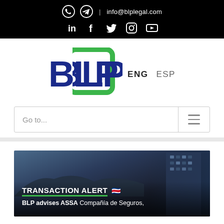WhatsApp Telegram | info@blplegal.com LinkedIn Facebook Twitter Instagram YouTube
[Figure (logo): BLP Legal logo — bold blue letters BLP with a green rounded-square bracket on the right side]
ENG  ESP
Go to...
[Figure (photo): Transaction Alert banner with city/building background. Text: TRANSACTION ALERT (with Costa Rica flag emoji). BLP advises ASSA Compañía de Seguros,]